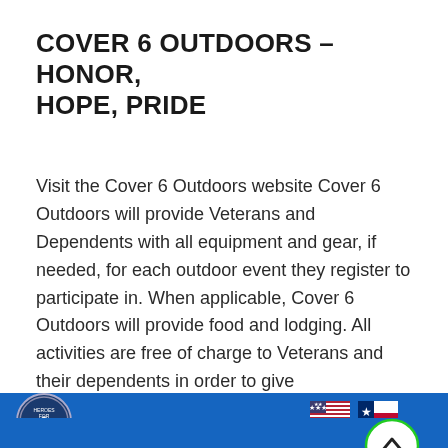COVER 6 OUTDOORS – HONOR, HOPE, PRIDE
Visit the Cover 6 Outdoors website Cover 6 Outdoors will provide Veterans and Dependents with all equipment and gear, if needed, for each outdoor event they register to participate in. When applicable, Cover 6 Outdoors will provide food and lodging. All activities are free of charge to Veterans and their dependents in order to give
READ MORE ›
[Figure (illustration): Blue banner footer with a circular seal/logo on the left showing a government building, and two flags (American flag and Texas flag) on the right side. A green-bordered circular scroll-to-top button with an upward chevron is overlaid near the top-right of the banner.]